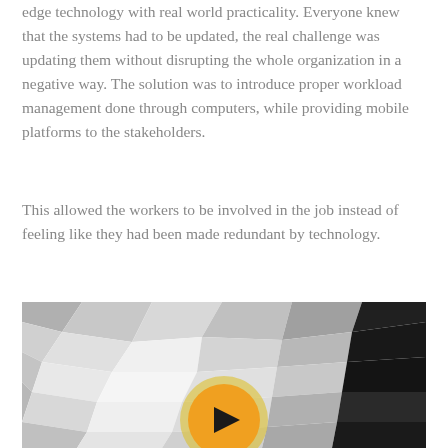edge technology with real world practicality. Everyone knew that the systems had to be updated, the real challenge was updating them without disrupting the whole organization in a negative way. The solution was to introduce proper workload management done through computers, while providing mobile platforms to the stakeholders.
This allowed the workers to be involved in the job instead of feeling like they had been made redundant by technology.
[Figure (other): Video thumbnail showing a geometric low-poly mosaic background in shades of gray, with a large orange/yellow circular play button in the center containing a black right-pointing triangle.]